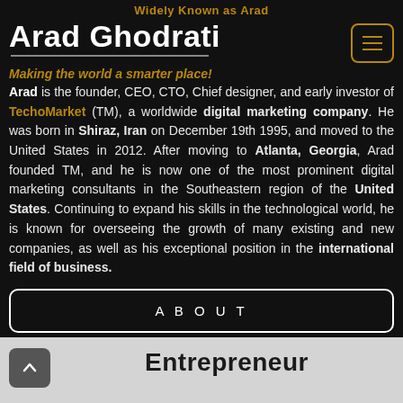Widely Known as Arad
Arad Ghodrati
Making the world a smarter place!
Arad is the founder, CEO, CTO, Chief designer, and early investor of TechoMarket (TM), a worldwide digital marketing company. He was born in Shiraz, Iran on December 19th 1995, and moved to the United States in 2012. After moving to Atlanta, Georgia, Arad founded TM, and he is now one of the most prominent digital marketing consultants in the Southeastern region of the United States. Continuing to expand his skills in the technological world, he is known for overseeing the growth of many existing and new companies, as well as his exceptional position in the international field of business.
ABOUT
Entrepreneur